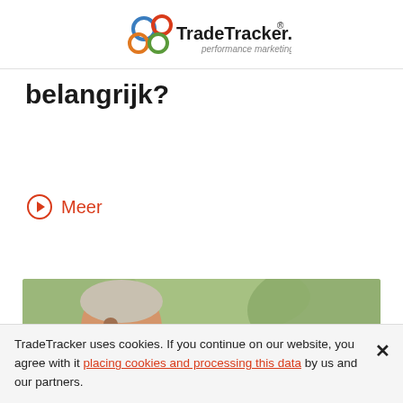TradeTracker.com® performance marketing
belangrijk?
Meer
[Figure (photo): Elderly man smiling while talking on a mobile phone, with a laptop visible in the background, outdoors with greenery.]
TradeTracker uses cookies. If you continue on our website, you agree with it placing cookies and processing this data by us and our partners.